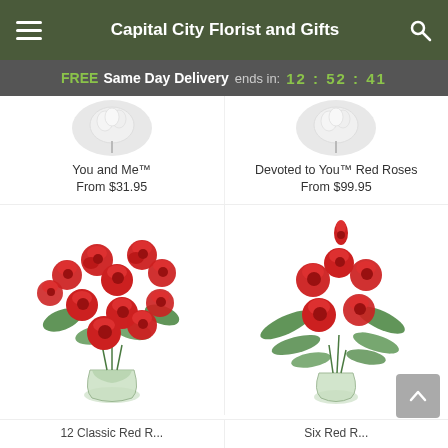Capital City Florist and Gifts
FREE Same Day Delivery ends in: 12:52:41
[Figure (photo): Partially visible white flower arrangement - You and Me bouquet]
You and Me™
From $31.95
[Figure (photo): Partially visible white flower arrangement - Devoted to You Red Roses]
Devoted to You™ Red Roses
From $99.95
[Figure (photo): Large bouquet of red roses in a glass vase with baby's breath and green foliage - 12 Classic Red Roses]
[Figure (photo): Six red roses in a glass vase with green fern foliage - Six Red Roses]
12 Classic Red R...
Six Red R...